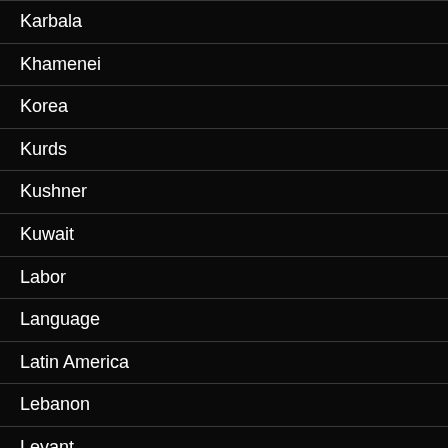Karbala
Khamenei
Korea
Kurds
Kushner
Kuwait
Labor
Language
Latin America
Lebanon
Levant
Libya